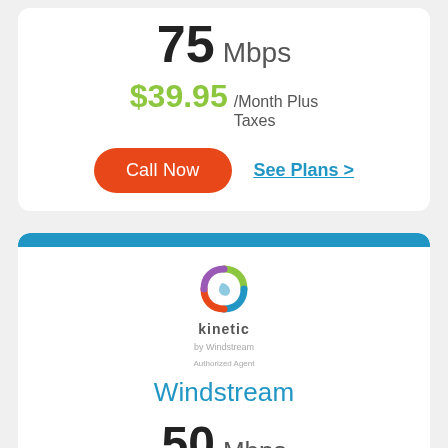75 Mbps
$39.95 /Month Plus Taxes
Call Now
See Plans >
[Figure (logo): Kinetic by Windstream Authorized Agent logo with colorful swirl icon]
Windstream
50 Mbps
$60.00 /month
Call Now
See Plans >